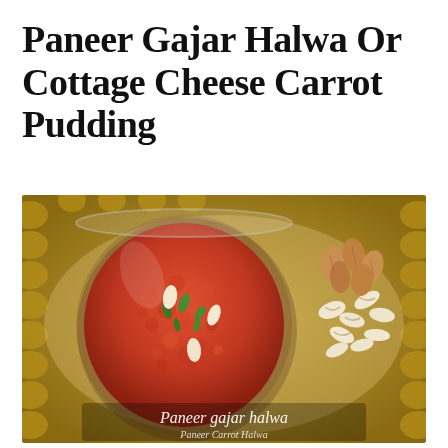Paneer Gajar Halwa Or Cottage Cheese Carrot Pudding
[Figure (photo): Overhead view of Paneer Gajar Halwa (carrot pudding) served in a glass jar on a decorative silver tray, garnished with almonds, cashews, and cardamom. Text overlay reads 'Paneer gajar halwa'.]